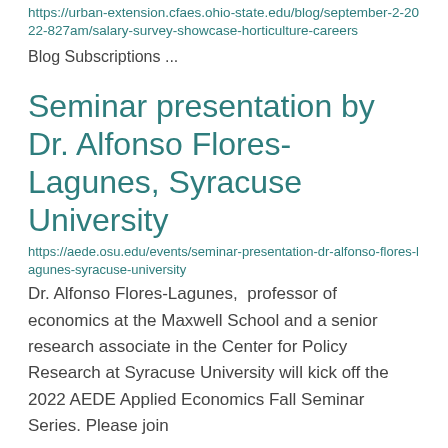https://urban-extension.cfaes.ohio-state.edu/blog/september-2-2022-827am/salary-survey-showcase-horticulture-careers
Blog Subscriptions ...
Seminar presentation by Dr. Alfonso Flores-Lagunes, Syracuse University
https://aede.osu.edu/events/seminar-presentation-dr-alfonso-flores-lagunes-syracuse-university
Dr. Alfonso Flores-Lagunes,  professor of economics at the Maxwell School and a senior research associate in the Center for Policy Research at Syracuse University will kick off the 2022 AEDE Applied Economics Fall Seminar Series. Please join